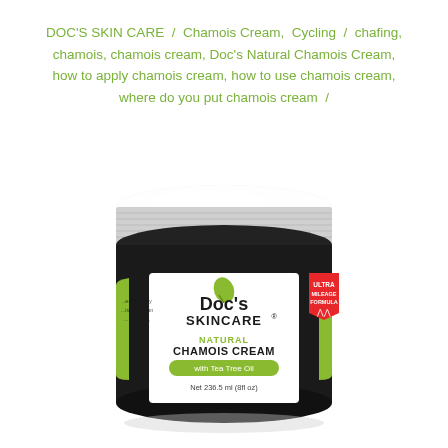DOC'S SKIN CARE / Chamois Cream, Cycling / chafing, chamois, chamois cream, Doc's Natural Chamois Cream, how to apply chamois cream, how to use chamois cream, where do you put chamois cream /
[Figure (photo): A jar of Doc's Skincare Natural Chamois Cream with Tea Tree Oil, 236.5 ml (8fl oz), Ultra Mileage Formula. White screw-top lid, black body with green and white label.]